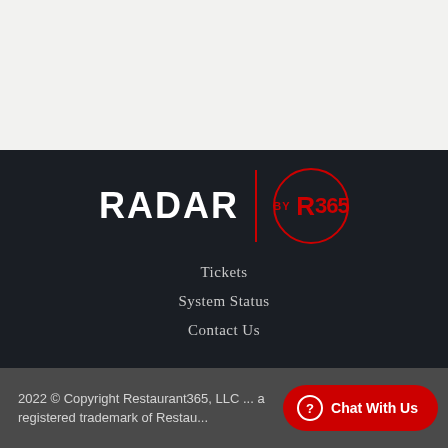[Figure (logo): RADAR by R365 logo — RADAR in bold white uppercase, a vertical red divider line, and a red circular badge containing 'BY R365']
Tickets
System Status
Contact Us
2022 © Copyright Restaurant365, LLC ... a registered trademark of Restaurant365